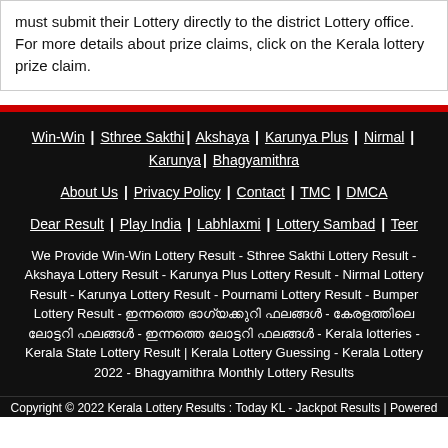must submit their Lottery directly to the district Lottery office. For more details about prize claims, click on the Kerala lottery prize claim.
Win-Win | Sthree Sakthi | Akshaya | Karunya Plus | Nirmal | Karunya | Bhagyamithra
About Us | Privacy Policy | Contact | TMC | DMCA
Dear Result | Play India | Labhlaxmi | Lottery Sambad | Teer
We Provide Win-Win Lottery Result - Sthree Sakthi Lottery Result - Akshaya Lottery Result - Karunya Plus Lottery Result - Nirmal Lottery Result - Karunya Lottery Result - Pournami Lottery Result - Bumper Lottery Result - [Malayalam text] - [Malayalam text] - [Malayalam text] - Kerala lotteries - Kerala State Lottery Result | Kerala Lottery Guessing - Kerala Lottery 2022 - Bhagyamithra Monthly Lottery Results
Copyright © 2022 Kerala Lottery Results : Today KL - Jackpot Results | Powered